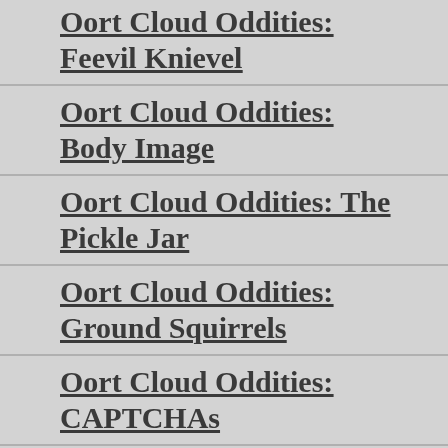Oort Cloud Oddities: Feevil Knievel
Oort Cloud Oddities: Body Image
Oort Cloud Oddities: The Pickle Jar
Oort Cloud Oddities: Ground Squirrels
Oort Cloud Oddities: CAPTCHAs
Oort Cloud Oddities: Zombie Infection
Oort Cloud Oddities: Haiku War
Oort Cloud Oddities: 2004